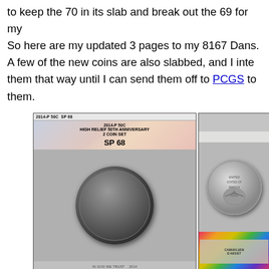to keep the 70 in its slab and break out the 69 for my album. So here are my updated 3 pages to my 8167 Dans. A few of the new coins are also slabbed, and I inte them that way until I can send them off to PCGS to them.
[Figure (photo): PCGS graded slab showing a 2014-P 50C Kennedy Half Dollar, High Relief 50th Anniversary 2 Coin Set, graded SP 68. The label shows the PCGS banner with American flag colors. The coin shows Kennedy's profile on the obverse.]
[Figure (photo): Partial view of another PCGS graded slab showing the reverse of a Kennedy Half Dollar (eagle side). The bottom shows a rainbow holographic security label with partial certification number E49587 visible.]